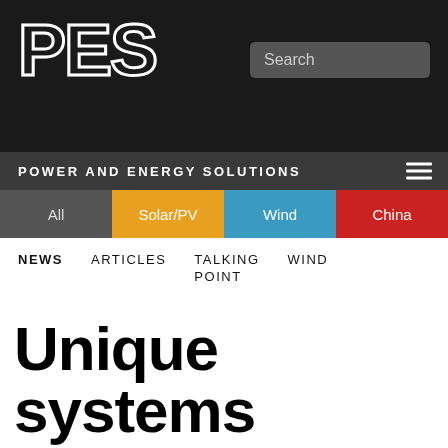PES — POWER AND ENERGY SOLUTIONS
All  Solar/PV  Wind  China
NEWS  ARTICLES  TALKING POINT  WIND
Unique systems saves